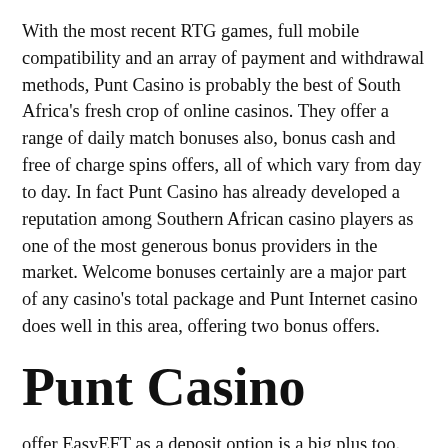With the most recent RTG games, full mobile compatibility and an array of payment and withdrawal methods, Punt Casino is probably the best of South Africa's fresh crop of online casinos. They offer a range of daily match bonuses also, bonus cash and free of charge spins offers, all of which vary from day to day. In fact Punt Casino has already developed a reputation among Southern African casino players as one of the most generous bonus providers in the market. Welcome bonuses certainly are a major part of any casino's total package and Punt Internet casino does well in this area, offering two bonus offers.
Punt Casino
offer EasyEFT as a deposit option is a big plus too.